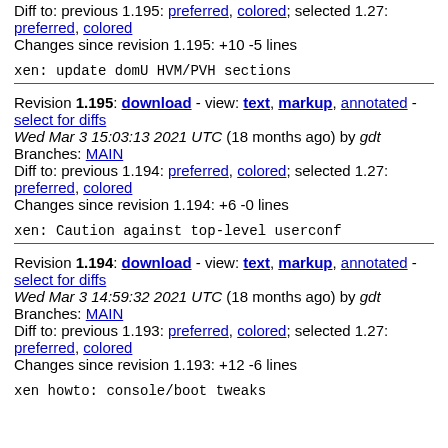Diff to: previous 1.195: preferred, colored; selected 1.27: preferred, colored
Changes since revision 1.195: +10 -5 lines
xen: update domU HVM/PVH sections
Revision 1.195: download - view: text, markup, annotated - select for diffs
Wed Mar 3 15:03:13 2021 UTC (18 months ago) by gdt
Branches: MAIN
Diff to: previous 1.194: preferred, colored; selected 1.27: preferred, colored
Changes since revision 1.194: +6 -0 lines
xen: Caution against top-level userconf
Revision 1.194: download - view: text, markup, annotated - select for diffs
Wed Mar 3 14:59:32 2021 UTC (18 months ago) by gdt
Branches: MAIN
Diff to: previous 1.193: preferred, colored; selected 1.27: preferred, colored
Changes since revision 1.193: +12 -6 lines
xen howto: console/boot tweaks